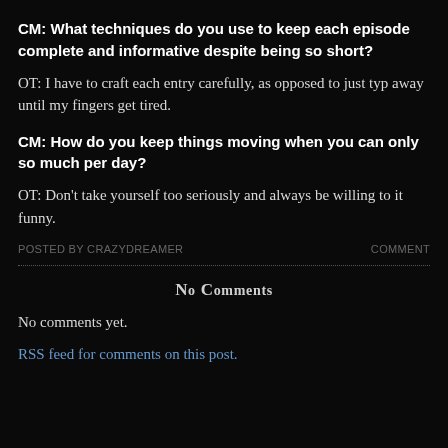CM: What techniques do you use to keep each episode complete and informative despite being so short?
OT: I have to craft each entry carefully, as opposed to just typing away until my fingers get tired.
CM: How do you keep things moving when you can only so much per day?
OT: Don't take yourself too seriously and always be willing to it funny.
POSTED BY CRAZYDREAMER   COMMENTS
No Comments
No comments yet.
RSS feed for comments on this post.